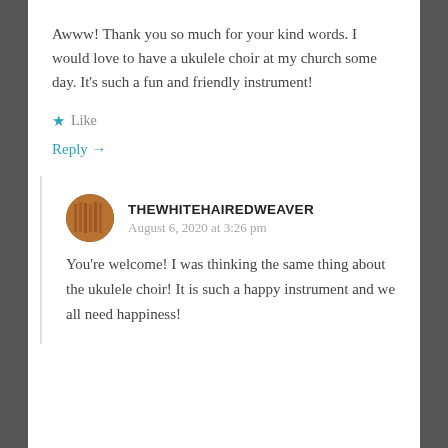Awww! Thank you so much for your kind words. I would love to have a ukulele choir at my church some day. It's such a fun and friendly instrument!
★ Like
Reply →
THEWHITEHAIREDWEAVER
August 6, 2020 at 3:26 pm
You're welcome! I was thinking the same thing about the ukulele choir! It is such a happy instrument and we all need happiness!